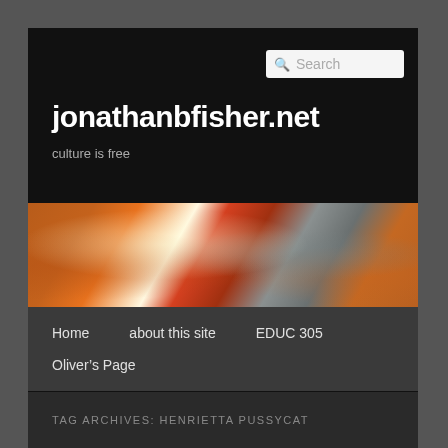Search
jonathanbfisher.net
culture is free
[Figure (photo): Blurred close-up banner photo with warm orange, red, and grey tones — decorative website header image]
Home
about this site
EDUC 305
Oliver's Page
TAG ARCHIVES: HENRIETTA PUSSYCAT